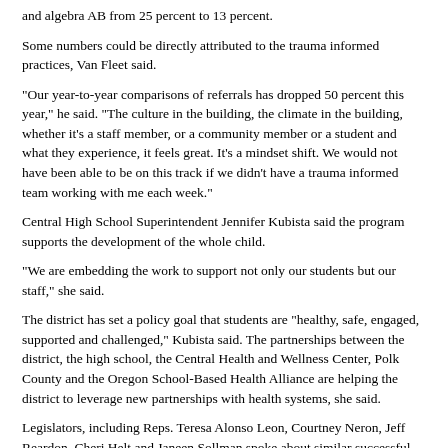and algebra AB from 25 percent to 13 percent.
Some numbers could be directly attributed to the trauma informed practices, Van Fleet said.
“Our year-to-year comparisons of referrals has dropped 50 percent this year,” he said. “The culture in the building, the climate in the building, whether it’s a staff member, or a community member or a student and what they experience, it feels great. It’s a mindset shift. We would not have been able to be on this track if we didn’t have a trauma informed team working with me each week.”
Central High School Superintendent Jennifer Kubista said the program supports the development of the whole child.
“We are embedding the work to support not only our students but our staff,” she said.
The district has set a policy goal that students are “healthy, safe, engaged, supported and challenged,” Kubista said. The partnerships between the district, the high school, the Central Health and Wellness Center, Polk County and the Oregon School-Based Health Alliance are helping the district to leverage new partnerships with health systems, she said.
Legislators, including Reps. Teresa Alonso Leon, Courtney Neron, Jeff Reardon, Cheri Helt and Janeen Sollman spoke about similar successful efforts in their districts, including implementation of the PAX Good Behavior Game program in the Hillsboro district. Riggs noted that these ideas are filtering throughout the state, including an effort in southern